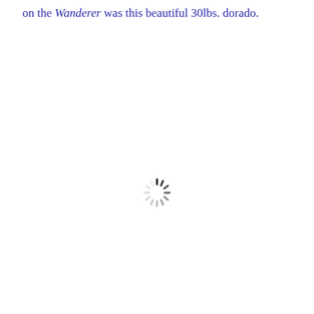on the Wanderer was this beautiful 30lbs. dorado.
[Figure (other): A loading spinner graphic — a circular arrangement of short radial lines in varying shades from dark gray/black to light gray, indicating a page or image loading state.]